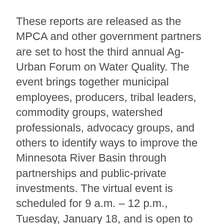These reports are released as the MPCA and other government partners are set to host the third annual Ag-Urban Forum on Water Quality. The event brings together municipal employees, producers, tribal leaders, commodity groups, watershed professionals, advocacy groups, and others to identify ways to improve the Minnesota River Basin through partnerships and public-private investments. The virtual event is scheduled for 9 a.m. – 12 p.m., Tuesday, January 18, and is open to the public. Register here for the event.
The WRAPS report calls for civic engagement and strong partnerships that extend beyond Minnesota. Numerous technical stakeholder groups are already involved in mutually beneficial restoration efforts. Proposed solutions include increasing diversity in cropping systems/tillage, better nutrient and manure